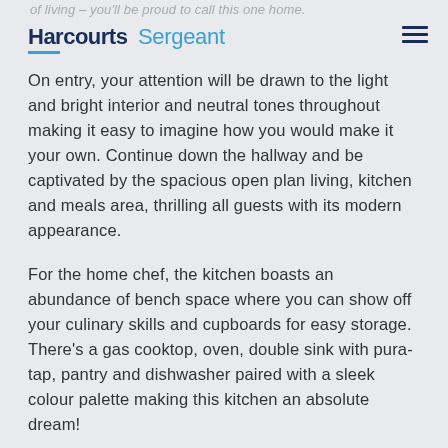of living – you'll be proud to call this one home. Harcourts Sergeant
On entry, your attention will be drawn to the light and bright interior and neutral tones throughout making it easy to imagine how you would make it your own. Continue down the hallway and be captivated by the spacious open plan living, kitchen and meals area, thrilling all guests with its modern appearance.
For the home chef, the kitchen boasts an abundance of bench space where you can show off your culinary skills and cupboards for easy storage. There's a gas cooktop, oven, double sink with pura-tap, pantry and dishwasher paired with a sleek colour palette making this kitchen an absolute dream!